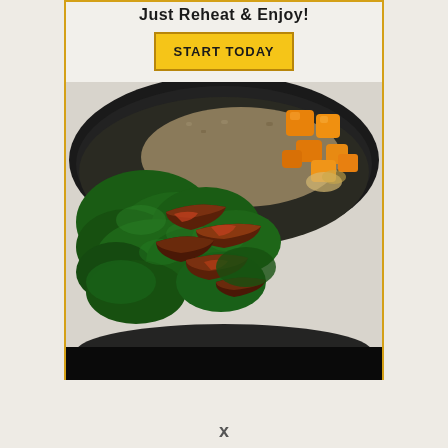Just Reheat & Enjoy!
START TODAY
[Figure (photo): A black skillet/pan filled with a cooked dish containing ground meat, kale, cubed butternut squash, and crumbled bacon pieces.]
x